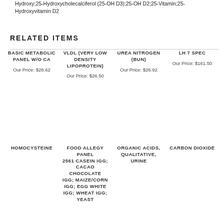Hydroxy;25-Hydroxycholecalciferol (25-OH D3);25-OH D2;25-Vitamin;25-Hydroxyvitamin D2
RELATED ITEMS
BASIC METABOLIC PANEL W/O CA
Our Price: $28.62
VLDL (VERY LOW DENSITY LIPOPROTEIN)
Our Price: $26.50
UREA NITROGEN (BUN)
Our Price: $26.92
LH 7 SPEC
Our Price: $161.50
HOMOCYSTEINE
FOOD ALLEGY PANEL 2561 CASEIN IGG; CACAO CHOCOLATE IGG; MAIZE/CORN IGG; EGG WHITE IGG; WHEAT IGG; YEAST
ORGANIC ACIDS, QUALITATIVE, URINE
CARBON DIOXIDE